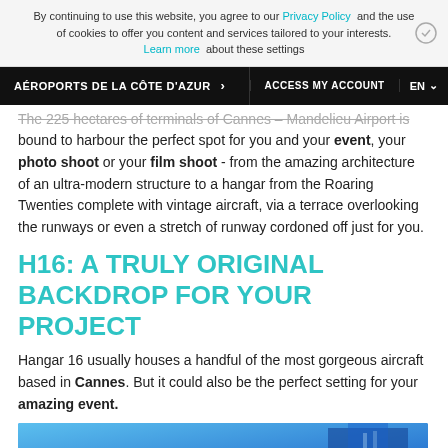By continuing to use this website, you agree to our Privacy Policy and the use of cookies to offer you content and services tailored to your interests. Learn more about these settings
AÉROPORTS DE LA CÔTE D'AZUR > ACCESS MY ACCOUNT EN
bound to harbour the perfect spot for you and your event, your photo shoot or your film shoot - from the amazing architecture of an ultra-modern structure to a hangar from the Roaring Twenties complete with vintage aircraft, via a terrace overlooking the runways or even a stretch of runway cordoned off just for you.
H16: A TRULY ORIGINAL BACKDROP FOR YOUR PROJECT
Hangar 16 usually houses a handful of the most gorgeous aircraft based in Cannes. But it could also be the perfect setting for your amazing event.
[Figure (photo): Blue sky and building exterior photo at bottom of page]